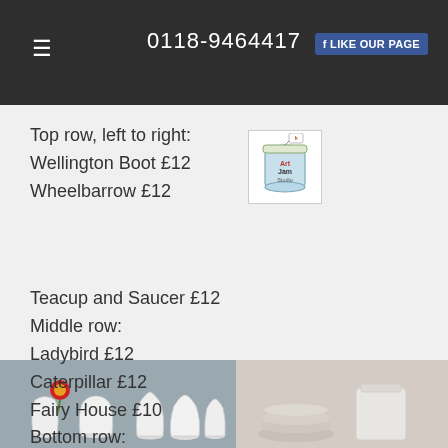0118-9464417
Top row, left to right:
Wellington Boot £12
Wheelbarrow £12
[Figure (logo): Art Jam Studio logo in a mason jar illustration]
Teacup and Saucer £12
Middle row:
Ladybird £12
Caterpillar £12
Fairy House £10
Bottom row:
Bird £12
Fluffy Sheep £12
Gnome £12
[Figure (photo): White ceramic vases and pottery pieces on a grey background with a red flower]
[Figure (photo): White ceramic bowls and rectangular vases on a light background]